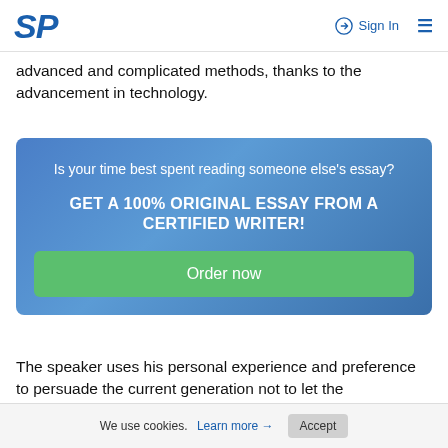SP | Sign In
advanced and complicated methods, thanks to the advancement in technology.
[Figure (infographic): Promotional banner with blue gradient background. Text reads: 'Is your time best spent reading someone else's essay? GET A 100% ORIGINAL ESSAY FROM A CERTIFIED WRITER!' with a green 'Order now' button.]
The speaker uses his personal experience and preference to persuade the current generation not to let the
We use cookies. Learn more → Accept